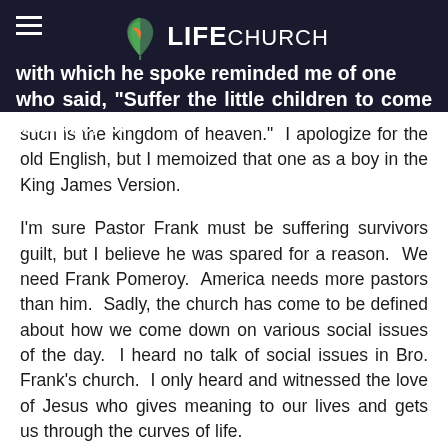with which he spoke reminded me of one who said, "Suffer the little children to come unto me, for
such is the kingdom of heaven." I apologize for the old English, but I memoized that one as a boy in the King James Version.
I'm sure Pastor Frank must be suffering survivors guilt, but I believe he was spared for a reason. We need Frank Pomeroy. America needs more pastors than him. Sadly, the church has come to be defined about how we come down on various social issues of the day. I heard no talk of social issues in Bro. Frank's church. I only heard and witnessed the love of Jesus who gives meaning to our lives and gets us through the curves of life.
I'm not even Baptist, but if I lived in this little town, I'd probably be at Sutherland Springs FBC. The surviving members of the church are already using the Christian "F"